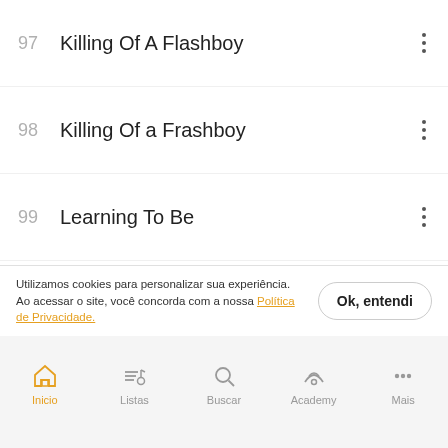97  Killing Of A Flashboy
98  Killing Of a Frashboy
99  Learning To Be
100  Leaving
101  Let Go
Utilizamos cookies para personalizar sua experiência. Ao acessar o site, você concorda com a nossa Política de Privacidade.
Inicio  Listas  Buscar  Academy  Mais